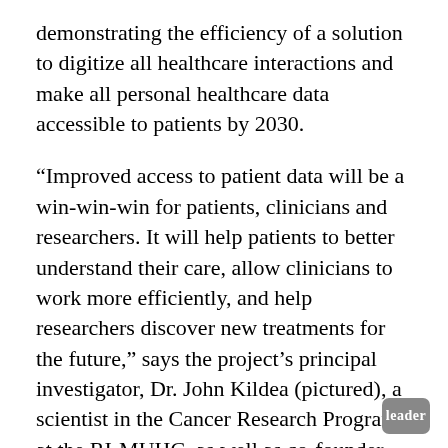demonstrating the efficiency of a solution to digitize all healthcare interactions and make all personal healthcare data accessible to patients by 2030.
“Improved access to patient data will be a win-win-win for patients, clinicians and researchers. It will help patients to better understand their care, allow clinicians to work more efficiently, and help researchers discover new treatments for the future,” says the project’s principal investigator, Dr. John Kildea (pictured), a scientist in the Cancer Research Program at the RI-MUHC, as well as co-founder and Research and Development director of the Opal Health Informatics Group. “Our project will demonstrate how Quebec can become a world leader in the domain. Using the Opal patient portal, we will